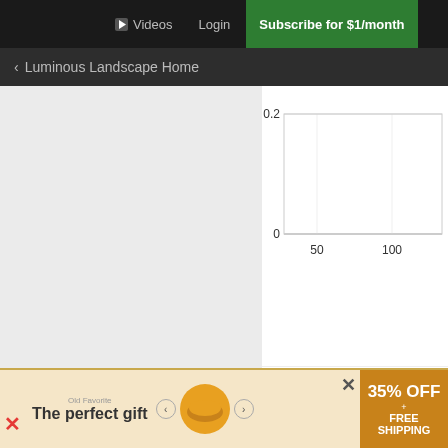Videos  Login  Subscribe for $1/month
< Luminous Landscape Home
[Figure (continuous-plot): Partial line chart visible showing y-axis values 0 and 0.2, x-axis values 50 and 100. Legend shows Rsnr-2Std and Rsnr lines in red.]
By the way, you wondered what would... You can get a sense of that by looking... 2/3 of a stop down from the green, an... 1/3 stop down from the green. Not as... more information.
Also by the way, I believe the rea...
[Figure (infographic): Advertisement banner: 'The perfect gift' with 35% OFF + FREE SHIPPING offer, showing food bowl product image with navigation arrows.]